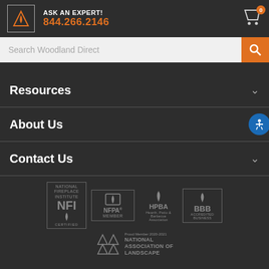ASK AN EXPERT! 844.266.2146
Search Woodland Direct
Resources
About Us
Contact Us
[Figure (logo): Certification badges: National Fireplace Institute NFI Certified, NFPA Member, HPBA, BBB Accredited Business, National Association of Landscape Professionals Proud Member 2020-2021]